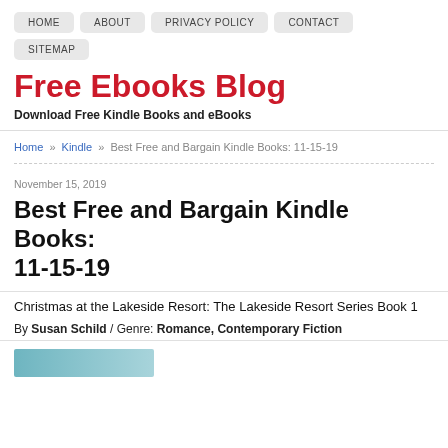HOME   ABOUT   PRIVACY POLICY   CONTACT   SITEMAP
Free Ebooks Blog
Download Free Kindle Books and eBooks
Home » Kindle » Best Free and Bargain Kindle Books: 11-15-19
November 15, 2019
Best Free and Bargain Kindle Books: 11-15-19
Christmas at the Lakeside Resort: The Lakeside Resort Series Book 1
By Susan Schild / Genre: Romance, Contemporary Fiction
[Figure (photo): Book cover image thumbnail at bottom left]